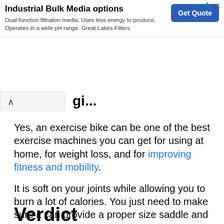[Figure (other): Advertisement banner for Industrial Bulk Media options by Great Lakes Filters with a Get Quote button]
Yes, an exercise bike can be one of the best exercise machines you can get for using at home, for weight loss, and for improving fitness and mobility.
It is soft on your joints while allowing you to burn a lot of calories. You just need to make sure it can provide a proper size saddle and it is set correctly so that it is comfortable, even when you decide to exercise for longer periods.
Verdict